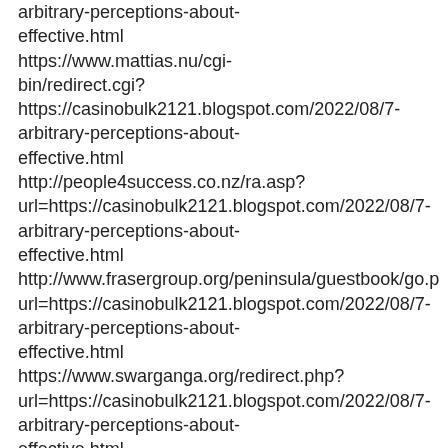arbitrary-perceptions-about-effective.html https://www.mattias.nu/cgi-bin/redirect.cgi?https://casinobulk2121.blogspot.com/2022/08/7-arbitrary-perceptions-about-effective.html http://people4success.co.nz/ra.asp?url=https://casinobulk2121.blogspot.com/2022/08/7-arbitrary-perceptions-about-effective.html http://www.frasergroup.org/peninsula/guestbook/go.php?url=https://casinobulk2121.blogspot.com/2022/08/7-arbitrary-perceptions-about-effective.html https://www.swarganga.org/redirect.php?url=https://casinobulk2121.blogspot.com/2022/08/7-arbitrary-perceptions-about-effective.html